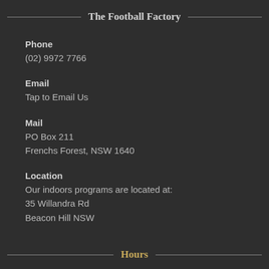The Football Factory
Phone
(02) 9972 7766
Email
Tap to Email Us
Mail
PO Box 211
Frenchs Forest, NSW 1640
Location
Our indoors programs are located at:
35 Willandra Rd
Beacon Hill NSW
Hours